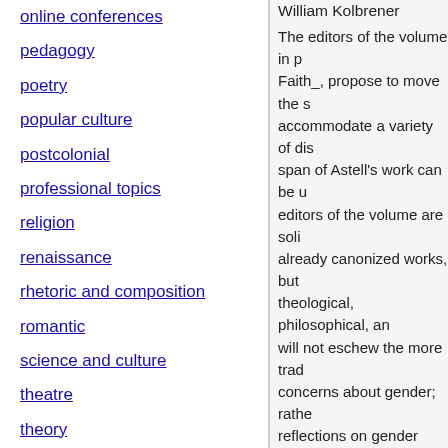online conferences
pedagogy
poetry
popular culture
postcolonial
professional topics
religion
renaissance
rhetoric and composition
romantic
science and culture
theatre
theory
translation studies
William Kolbrener
The editors of the volume in p Faith_, propose to move the s accommodate a variety of dis span of Astell's work can be u editors of the volume are soli already canonized works, but theological, philosophical, an will not eschew the more trad concerns about gender; rathe reflections on gender were al
CFP: Mary Astell: Ge
updated: Thursday, August 1
William Kolbrener
The editors of the volume in p Faith_, propose to move the s